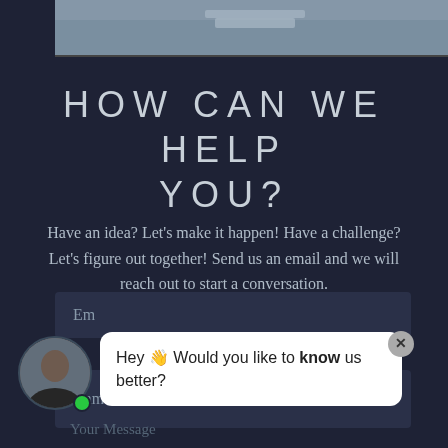[Figure (photo): Partial photo visible at top of page showing an outdoor scene]
HOW CAN WE HELP YOU?
Have an idea? Let's make it happen! Have a challenge? Let's figure out together! Send us an email and we will reach out to start a conversation.
Name
Em
[Figure (screenshot): Chat widget popup with avatar photo of a person, green online dot, speech bubble saying 'Hey 👋 Would you like to know us better?' with a close button]
Your Message